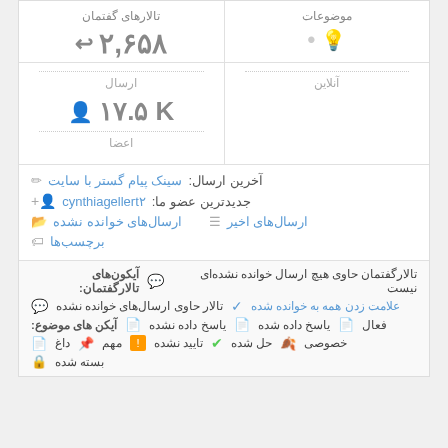تالارهای گفتمان
۲,۶۵۸
ارسال
۱۷.۵ K
اعضا
موضوعات
٠
آنلاین
آخرین ارسال: سینک پیام گستر با سایت
جدیدترین عضو ما: cynthiagellert٢
ارسال‌های اخیر
ارسال‌های خوانده نشده
برچسب‌ها
آیکون‌های تالارگفتمان: تالارگفتمان حاوی هیچ ارسال خوانده نشده‌ای نیست
تالار حاوی ارسال‌های خوانده نشده     علامت زدن همه به خوانده شده
آیکن های موضوع: ياسخ داده نشده   ياسخ داده شده   فعال
داغ   مهم   تایید نشده   حل شده   خصوصی
بسته شده